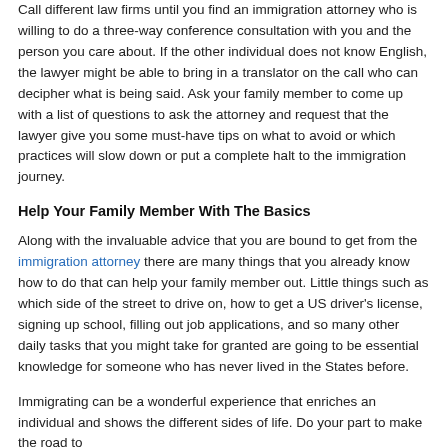Call different law firms until you find an immigration attorney who is willing to do a three-way conference consultation with you and the person you care about. If the other individual does not know English, the lawyer might be able to bring in a translator on the call who can decipher what is being said. Ask your family member to come up with a list of questions to ask the attorney and request that the lawyer give you some must-have tips on what to avoid or which practices will slow down or put a complete halt to the immigration journey.
Help Your Family Member With The Basics
Along with the invaluable advice that you are bound to get from the immigration attorney there are many things that you already know how to do that can help your family member out. Little things such as which side of the street to drive on, how to get a US driver's license, signing up school, filling out job applications, and so many other daily tasks that you might take for granted are going to be essential knowledge for someone who has never lived in the States before.
Immigrating can be a wonderful experience that enriches an individual and shows the different sides of life. Do your part to make the road to